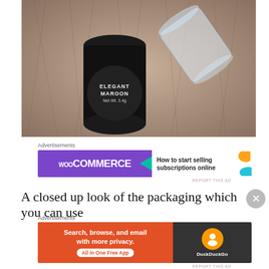[Figure (photo): Close-up photograph of a nail polish bottle labeled 'ELEGANT MAROON Net Wt. 3.4g' in black packaging, alongside a small clear plastic cup, both resting on a furry/fuzzy surface.]
Advertisements
[Figure (screenshot): WooCommerce advertisement banner: purple background with WooCommerce logo on left, green arrow, white right side with text 'How to start selling subscriptions online' and colorful decorative blobs.]
REPORT THIS AD
A closed up look of the packaging which you can use
Advertisements
[Figure (screenshot): DuckDuckGo advertisement banner: orange left side with text 'Search, browse, and email with more privacy. All in One Free App', dark right side with DuckDuckGo logo.]
REPORT THIS AD